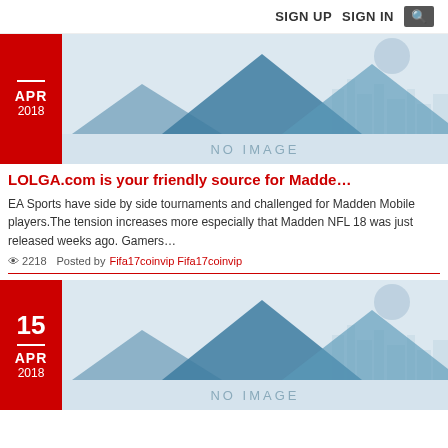SIGN UP  SIGN IN  🔍
[Figure (illustration): No image placeholder with mountain silhouette and city skyline, date badge showing APR 2018]
LOLGA.com is your friendly source for Madde…
EA Sports have side by side tournaments and challenged for Madden Mobile players.The tension increases more especially that Madden NFL 18 was just released weeks ago. Gamers…
👁 2218   Posted by Fifa17coinvip Fifa17coinvip
[Figure (illustration): No image placeholder with mountain silhouette and city skyline, date badge showing 15 APR 2018]